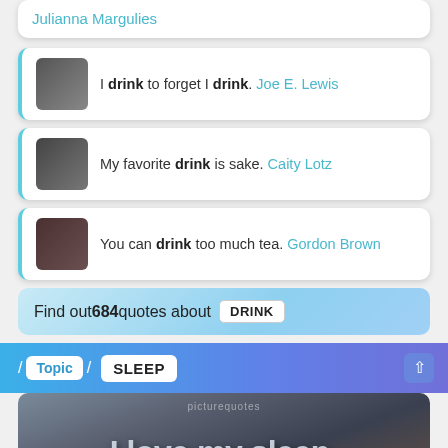Julianna Margulies
I drink to forget I drink. Joe E. Lewis
My favorite drink is sake. Caity Lotz
You can drink too much tea. Gordon Brown
Find out 684 quotes about DRINK
/ Topic / SLEEP
[Figure (photo): Decorative image with text overlay reading 'I love my sleep.' attributed to Caprice Bourret]